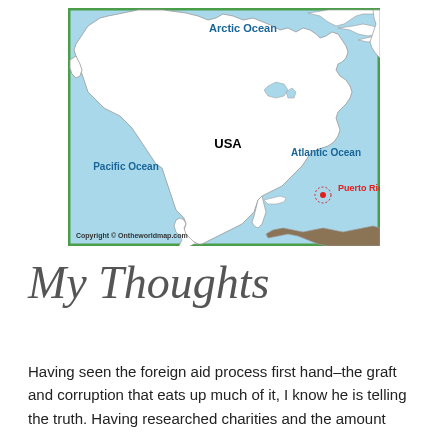[Figure (map): Map of North America showing the USA, with labeled oceans (Arctic Ocean, Atlantic Ocean, Pacific Ocean) and Puerto Rico marked in red. Copyright notice reads 'Copyright © Ontheworldmap.com'. Green border around the map.]
My Thoughts
Having seen the foreign aid process first hand–the graft and corruption that eats up much of it, I know he is telling the truth. Having researched charities and the amount